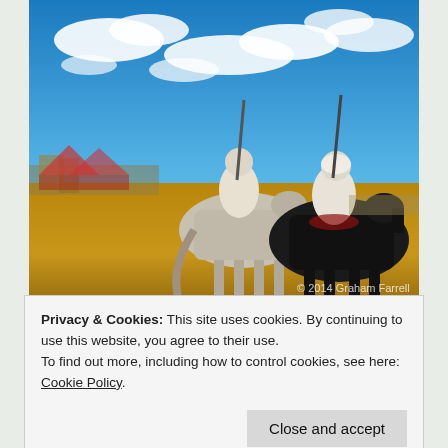[Figure (photo): Two riders on horseback seen from behind, wearing white robes and holding rifles upright, against a blue sky with clouds. The ground is dry and sandy. A crowd and tents are visible in the background on the left. Watermark reads '© 2014 Graham Farrell'.]
[Figure (photo): Partial view of a second photo showing a blue sky with clouds at the top, partially obscured by the cookie consent banner.]
Privacy & Cookies: This site uses cookies. By continuing to use this website, you agree to their use.
To find out more, including how to control cookies, see here: Cookie Policy
[Figure (photo): Partial view of a third photo at the bottom of the page, partially obscured.]